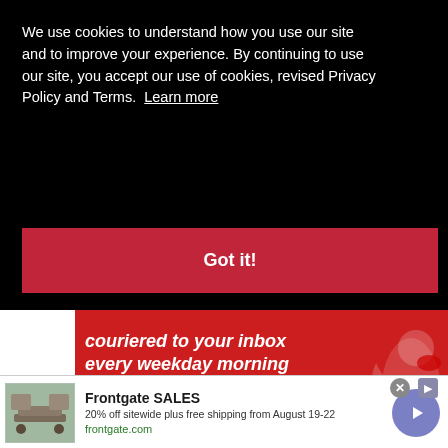[Figure (screenshot): Partial view of a website header showing 'BLOOD DRIVE' text in red on dark background with a person's image on the left]
We use cookies to understand how you use our site and to improve your experience. By continuing to use our site, you accept our use of cookies, revised Privacy Policy and Terms.  Learn more
Got it!
[Figure (screenshot): Pittsburgh CityPaper advertisement banner in red: 'couriered to your inbox every weekday morning by CityPaper Pittsburgh' with a cartoon bird mascot]
[Figure (screenshot): Frontgate SALES advertisement: '20% off sitewide plus free shipping from August 19-22' with outdoor furniture image and frontgate.com domain label]